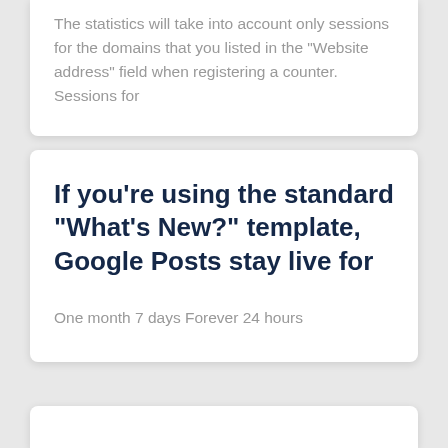The statistics will take into account only sessions for the domains that you listed in the “Website address” field when registering a counter. Sessions for
If you’re using the standard “What’s New?” template, Google Posts stay live for
One month 7 days Forever 24 hours